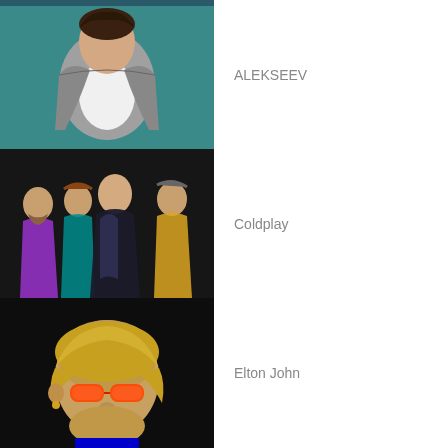[Figure (photo): Young male artist ALEKSEEV wearing grey blazer and white t-shirt against teal background]
ALEKSEEV
[Figure (photo): Coldplay band members standing together in colorful outfits]
Coldplay
[Figure (photo): Elton John wearing red tinted glasses against dark background]
Elton John